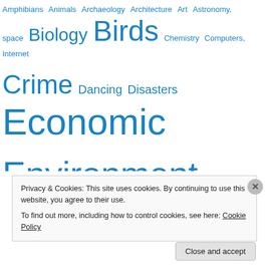[Figure (infographic): Tag cloud of topics in shades of blue with varying font sizes indicating frequency/importance. Topics include: Amphibians, Animals, Archaeology, Architecture, Art, Astronomy space, Biology, Birds, Chemistry, Computers Internet, Crime, Dancing, Disasters, Economic, Environment, Film, Fish, Human rights, Humour, Invertebrates, Literature, Mammals, Mathematics, Media, Medicine health, Music]
Privacy & Cookies: This site uses cookies. By continuing to use this website, you agree to their use.
To find out more, including how to control cookies, see here: Cookie Policy
Close and accept